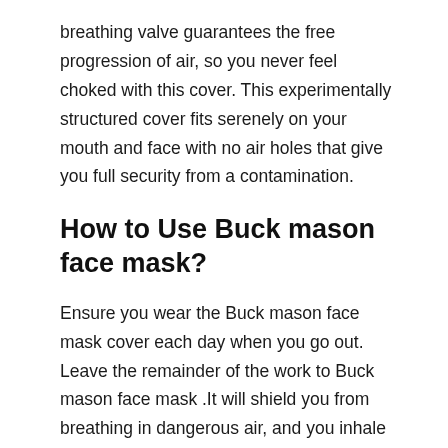breathing valve guarantees the free progression of air, so you never feel choked with this cover. This experimentally structured cover fits serenely on your mouth and face with no air holes that give you full security from a contamination.
How to Use Buck mason face mask?
Ensure you wear the Buck mason face mask cover each day when you go out. Leave the remainder of the work to Buck mason face mask .It will shield you from breathing in dangerous air, and you inhale clean air. Likewise, make sure to return home and wash the veil altogether to flush off all the